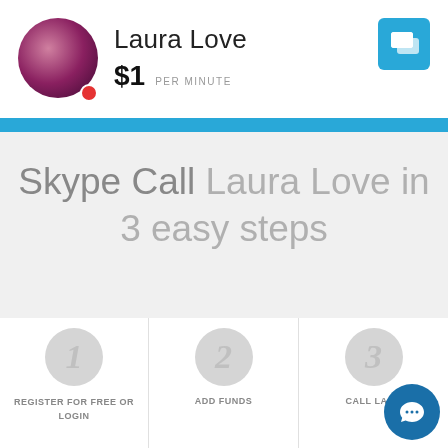Laura Love · $1 PER MINUTE
Skype Call Laura Love in 3 easy steps
1 REGISTER FOR FREE or LOGIN
2 ADD FUNDS
3 CALL Laura